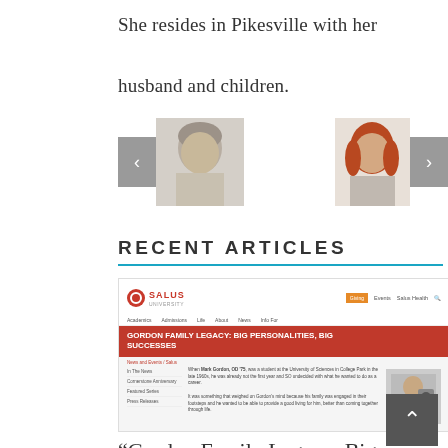She resides in Pikesville with her husband and children.
[Figure (photo): Carousel navigation with left arrow button, a photo of an older man (partial), a photo of a woman with red hair (partial), and a right arrow button]
RECENT ARTICLES
[Figure (screenshot): Screenshot of Salus University website showing article titled 'GORDON FAMILY LEGACY: BIG PERSONALITIES, BIG SUCCESSES' with navigation menu, breadcrumb, sidebar links (In The News, Cornerstone Anniversary, Featured Series, Press Releases), article text, and a photo of a man at an eye exam machine]
“Gordon Family Legacy: Big Personalities, Big Successes”